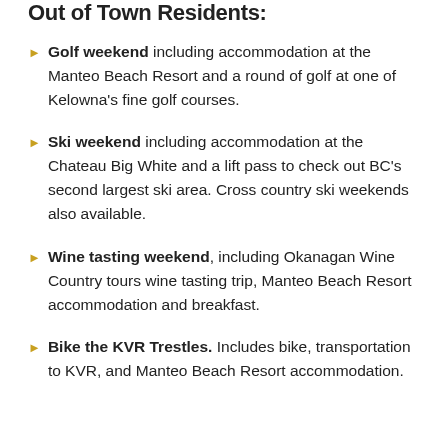Out of Town Residents:
Golf weekend including accommodation at the Manteo Beach Resort and a round of golf at one of Kelowna's fine golf courses.
Ski weekend including accommodation at the Chateau Big White and a lift pass to check out BC's second largest ski area. Cross country ski weekends also available.
Wine tasting weekend, including Okanagan Wine Country tours wine tasting trip, Manteo Beach Resort accommodation and breakfast.
Bike the KVR Trestles. Includes bike, transportation to KVR, and Manteo Beach Resort accommodation.